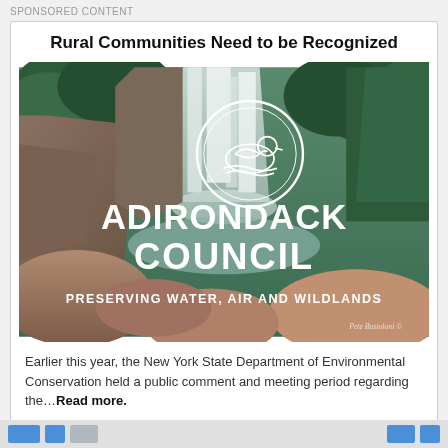SPONSORED CONTENT
Rural Communities Need to be Recognized
[Figure (logo): Adirondack Council advertisement image showing a waterfall with lush green trees, featuring the Adirondack Council circular loon logo, large text reading ADIRONDACK COUNCIL, and tagline PRESERVING WATER, AIR AND WILDLANDS]
Earlier this year, the New York State Department of Environmental Conservation held a public comment and meeting period regarding the…Read more.